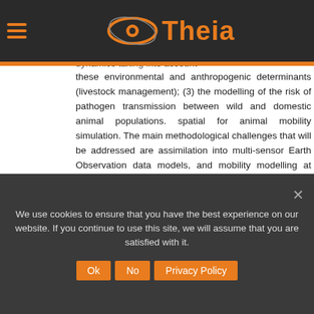[Figure (logo): Theia website logo with orange eye icon and orange text 'Theia', on dark navigation bar with hamburger menu]
Three components structure this project. (1) the characterization and monitoring by remote sensing of the environmental determinants of the (3) the modelling of land use dynamics taking into account these environmental and anthropogenic determinants (livestock management); (3) the modelling of the risk of pathogen transmission between wild and domestic animal populations. spatial for animal mobility simulation. The main methodological challenges that will be addressed are assimilation into multi-sensor Earth Observation data models, and mobility modelling at different scales.
Location : Zimbabwe, Mozambique
Partners : UMR TETIS/CIRAD, UMR ASTRE/CIRAD
We use cookies to ensure that you have the best experience on our website. If you continue to use this site, we will assume that you are satisfied with it.